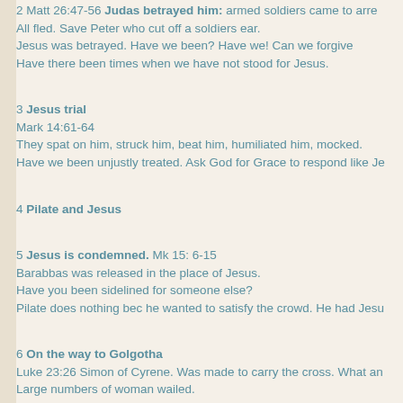2 Matt 26:47-56 Judas betrayed him: armed soldiers came to arrest. All fled. Save Peter who cut off a soldiers ear.
Jesus was betrayed. Have we been? Have we! Can we forgive
Have there been times when we have not stood for Jesus.
3 Jesus trial
Mark 14:61-64
They spat on him, struck him, beat him, humiliated him, mocked.
Have we been unjustly treated. Ask God for Grace to respond like Je
4 Pilate and Jesus
5 Jesus is condemned. Mk 15: 6-15
Barabbas was released in the place of Jesus.
Have you been sidelined for someone else?
Pilate does nothing bec he wanted to satisfy the crowd. He had Jesu
6 On the way to Golgotha
Luke 23:26 Simon of Cyrene. Was made to carry the cross. What an
Large numbers of woman wailed.
Would we carry His cross? Today we can. We do it as we serve his b
Ask God for strength to do that